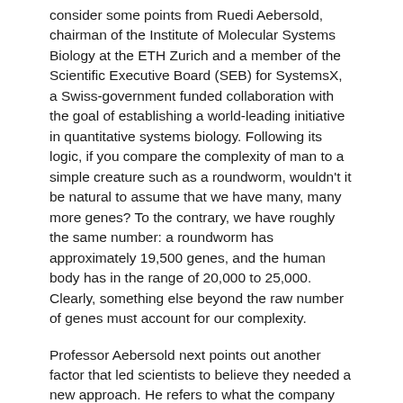consider some points from Ruedi Aebersold, chairman of the Institute of Molecular Systems Biology at the ETH Zurich and a member of the Scientific Executive Board (SEB) for SystemsX, a Swiss-government funded collaboration with the goal of establishing a world-leading initiative in quantitative systems biology. Following its logic, if you compare the complexity of man to a simple creature such as a roundworm, wouldn't it be natural to assume that we have many, many more genes? To the contrary, we have roughly the same number: a roundworm has approximately 19,500 genes, and the human body has in the range of 20,000 to 25,000. Clearly, something else beyond the raw number of genes must account for our complexity.
Professor Aebersold next points out another factor that led scientists to believe they needed a new approach. He refers to what the company Burrill and Company has named the 'pharma innovation gap'. The amount of money spent on pharmaceutical R&D has risen steadily whereas since 1999 the number of new drugs approved has been dropping (see Figure 1).